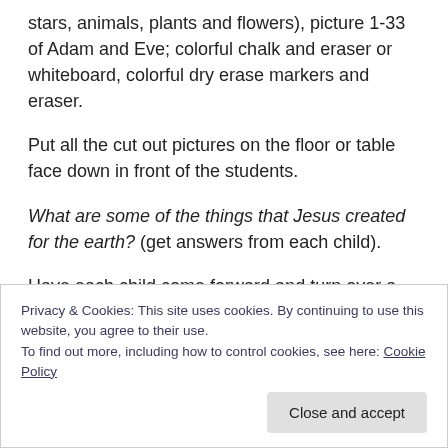stars, animals, plants and flowers), picture 1-33 of Adam and Eve; colorful chalk and eraser or whiteboard, colorful dry erase markers and eraser.
Put all the cut out pictures on the floor or table face down in front of the students.
What are some of the things that Jesus created for the earth? (get answers from each child).
Have each child come forward and turn over a picture and tell what it is. After naming it, have everyone say together,
Privacy & Cookies: This site uses cookies. By continuing to use this website, you agree to their use.
To find out more, including how to control cookies, see here: Cookie Policy